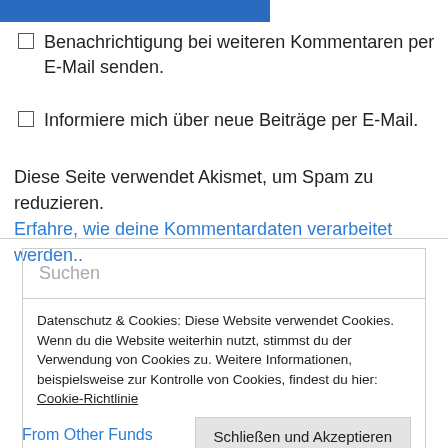[Figure (other): Blue horizontal bar at top of page]
Benachrichtigung bei weiteren Kommentaren per E-Mail senden.
Informiere mich über neue Beiträge per E-Mail.
Diese Seite verwendet Akismet, um Spam zu reduzieren. Erfahre, wie deine Kommentardaten verarbeitet werden..
Suchen
Datenschutz & Cookies: Diese Website verwendet Cookies. Wenn du die Website weiterhin nutzt, stimmst du der Verwendung von Cookies zu. Weitere Informationen, beispielsweise zur Kontrolle von Cookies, findest du hier: Cookie-Richtlinie
Schließen und Akzeptieren
From Other Funds